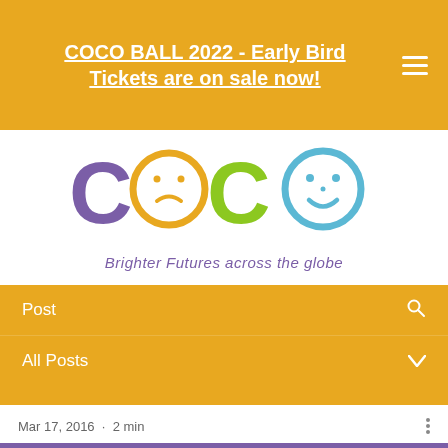COCO BALL 2022 - Early Bird Tickets are on sale now!
[Figure (logo): COCO charity logo with colorful letters and sad/smiley faces, tagline: Brighter Futures across the globe]
Post
All Posts
Mar 17, 2016 · 2 min
Donate Now